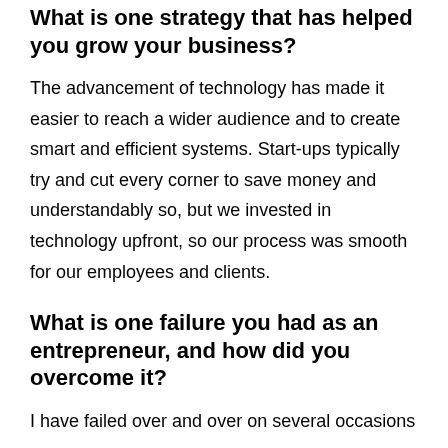What is one strategy that has helped you grow your business?
The advancement of technology has made it easier to reach a wider audience and to create smart and efficient systems. Start-ups typically try and cut every corner to save money and understandably so, but we invested in technology upfront, so our process was smooth for our employees and clients.
What is one failure you had as an entrepreneur, and how did you overcome it?
I have failed over and over on several occasions